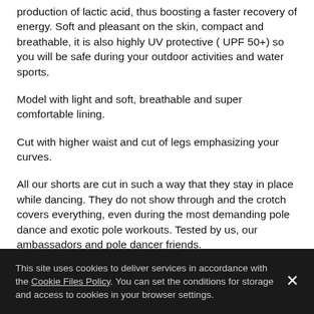production of lactic acid, thus boosting a faster recovery of energy. Soft and pleasant on the skin, compact and breathable, it is also highly UV protective ( UPF 50+) so you will be safe during your outdoor activities and water sports.
Model with light and soft, breathable and super comfortable lining.
Cut with higher waist and cut of legs emphasizing your curves.
All our shorts are cut in such a way that they stay in place while dancing. They do not show through and the crotch covers everything, even during the most demanding pole dance and exotic pole workouts. Tested by us, our ambassadors and pole dancer friends.
On the back there is a sewn-on ecometric with embossed logo of our brand.
This site uses cookies to deliver services in accordance with the Cookie Files Policy. You can set the conditions for storage and access to cookies in your browser settings.